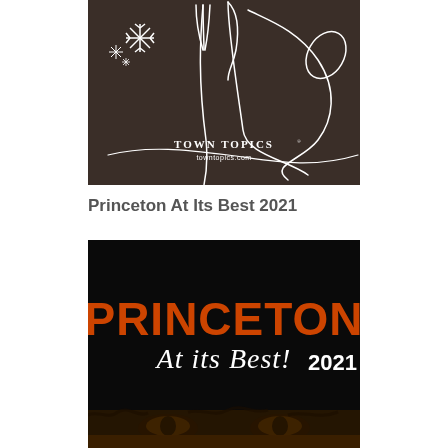[Figure (illustration): Town Topics magazine cover with dark brown background, white line drawing of utensils (fork, spoon, knife) with snowflakes, text 'TOWN TOPICS' and 'towntopics.com' in white.]
Princeton At Its Best 2021
[Figure (illustration): Princeton At Its Best 2021 publication cover with black background, large orange block letters 'PRINCETON', cursive white text 'At its Best!' overlaid, '2021' in white, and tiger eyes/fur visible at the bottom.]